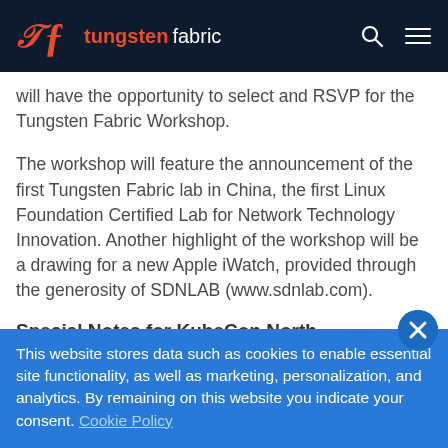tungsten fabric
will have the opportunity to select and RSVP for the Tungsten Fabric Workshop.
The workshop will feature the announcement of the first Tungsten Fabric lab in China, the first Linux Foundation Certified Lab for Network Technology Innovation. Another highlight of the workshop will be a drawing for a new Apple iWatch, provided through the generosity of SDNLAB (www.sdnlab.com).
Special Notes for KubeCon North
This website stores data such as cookies to enable essential site functionality, as well as marketing, personalization, and analytics. By remaining on this website you indicate your consent. Cookie Policy